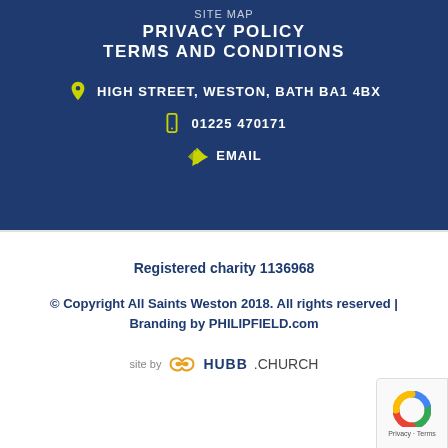SITE MAP
PRIVACY POLICY
TERMS AND CONDITIONS
HIGH STREET, WESTON, BATH BA1 4BX
01225 470171
EMAIL
Registered charity 1136968
© Copyright All Saints Weston 2018. All rights reserved | Branding by PHILIPFIELD.com
[Figure (logo): site by HUBB.CHURCH logo]
[Figure (logo): reCAPTCHA privacy badge]